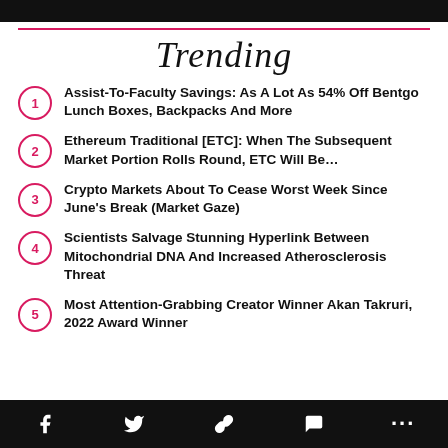Trending
Assist-To-Faculty Savings: As A Lot As 54% Off Bentgo Lunch Boxes, Backpacks And More
Ethereum Traditional [ETC]: When The Subsequent Market Portion Rolls Round, ETC Will Be…
Crypto Markets About To Cease Worst Week Since June's Break (Market Gaze)
Scientists Salvage Stunning Hyperlink Between Mitochondrial DNA And Increased Atherosclerosis Threat
Most Attention-Grabbing Creator Winner Akan Takruri, 2022 Award Winner
f  Twitter  Link  Comment  ...